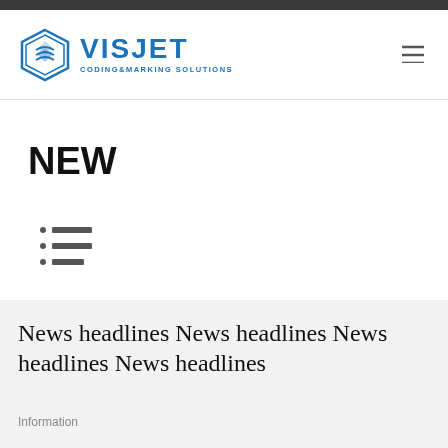[Figure (logo): VISJET CODING&MARKING SOLUTIONS logo — hexagonal blue icon on the left, company name in bold blue uppercase letters on the right with tagline]
NEW
[Figure (other): List/menu icon — three horizontal lines with small dots on the left, resembling a list view icon]
News headlines News headlines News headlines News headlines
Information